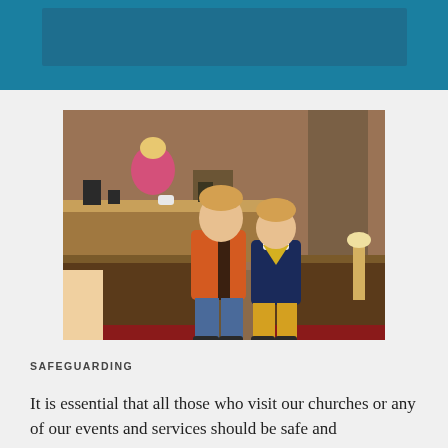[Figure (photo): Two young children standing in a church interior between wooden pews. A boy in an orange hoodie and jeans on the left, and a smaller child in a navy cardigan and yellow trousers on the right. In the background, a woman in a pink top is standing at a counter, with brick walls and church furnishings visible.]
SAFEGUARDING
It is essential that all those who visit our churches or any of our events and services should be safe and